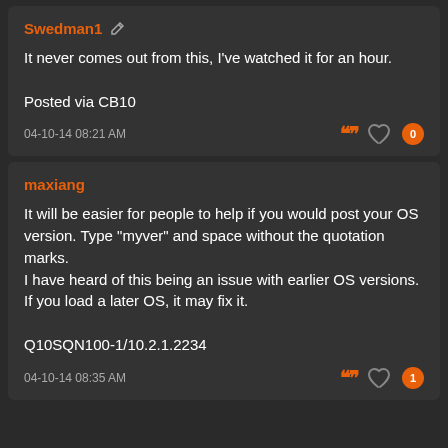Swedman1
It never comes out from this, I've watched it for an hour.

Posted via CB10
04-10-14 08:21 AM
maxiang
It will be easier for people to help if you would post your OS version. Type "myver" and space without the quotation marks.
I have heard of this being an issue with earlier OS versions. If you load a later OS, it may fix it.

Q10SQN100-1/10.2.1.2234
04-10-14 08:35 AM